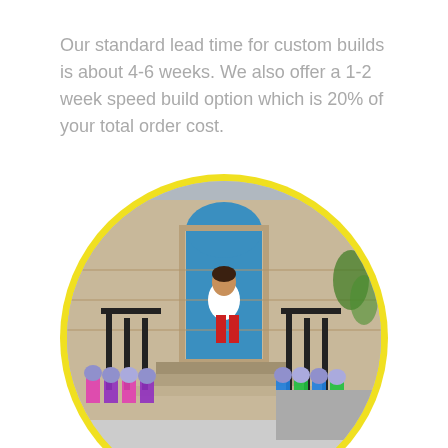Our standard lead time for custom builds is about 4-6 weeks. We also offer a 1-2 week speed build option which is 20% of your total order cost.
[Figure (photo): A woman in a white top and red pants sitting on a railing outside a Georgian stone building with a blue door, surrounded by rows of colorful knitted mouse toys hanging on the railings. The photo is displayed in a circular frame with a yellow border.]